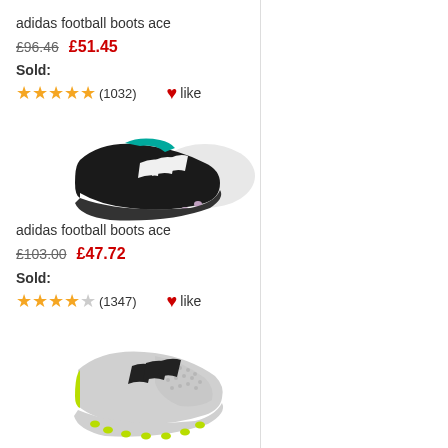adidas football boots ace
£96.46  £51.45
Sold:
★★★★★ (1032)  ♥like
[Figure (photo): Adidas ACE football boot in black and white colorway with teal accents and metal studs]
adidas football boots ace
£103.00  £47.72
Sold:
★★★★☆ (1347)  ♥like
[Figure (photo): Adidas ACE football boot in silver/white with black stripes and yellow-green accents and studs]